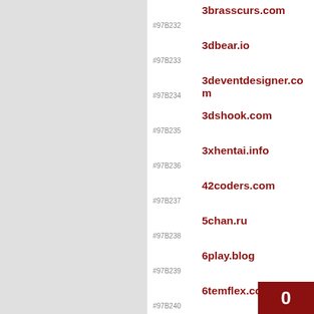#97B232 3brasscurs.com
#97B233 3dbear.io
#97B234 3deventdesigner.com
#97B235 3dshook.com
#97B236 3xhentai.info
#97B237 42coders.com
#97B238 5chan.ru
#97B239 6play.blog
#97B240 6temflex.com
#97B241 7bd.fr
#97B242 7senders.com
#97B243 7up.fr
#97B244 94ye90.com